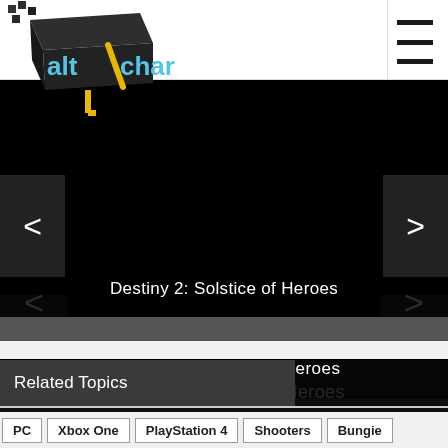[Figure (logo): AltChar logo — pixelated 3D block letters in blue/gray with yellow diagonal slash]
[Figure (other): Hamburger menu icon (three horizontal lines)]
[Figure (photo): Black/dark image area for Destiny 2: Solstice of Heroes media slideshow]
Destiny 2: Solstice of Heroes
Related Topics
PC
Xbox One
PlayStation 4
Shooters
Bungie